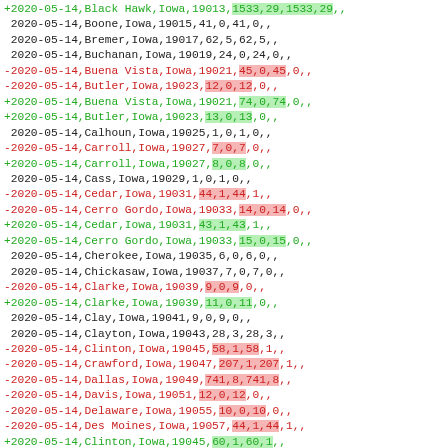CSV data listing of COVID-19 county-level records for Iowa counties dated 2020-05-14, showing additions (+) and removals (-) with highlighted changed values.
+2020-05-14,Black Hawk,Iowa,19013,1533,29,1533,29,,
2020-05-14,Boone,Iowa,19015,41,0,41,0,,
2020-05-14,Bremer,Iowa,19017,62,5,62,5,,
2020-05-14,Buchanan,Iowa,19019,24,0,24,0,,
-2020-05-14,Buena Vista,Iowa,19021,45,0,45,0,,
-2020-05-14,Butler,Iowa,19023,12,0,12,0,,
+2020-05-14,Buena Vista,Iowa,19021,74,0,74,0,,
+2020-05-14,Butler,Iowa,19023,13,0,13,0,,
2020-05-14,Calhoun,Iowa,19025,1,0,1,0,,
-2020-05-14,Carroll,Iowa,19027,7,0,7,0,,
+2020-05-14,Carroll,Iowa,19027,8,0,8,0,,
2020-05-14,Cass,Iowa,19029,1,0,1,0,,
-2020-05-14,Cedar,Iowa,19031,44,1,44,1,,
-2020-05-14,Cerro Gordo,Iowa,19033,14,0,14,0,,
+2020-05-14,Cedar,Iowa,19031,43,1,43,1,,
+2020-05-14,Cerro Gordo,Iowa,19033,15,0,15,0,,
2020-05-14,Cherokee,Iowa,19035,6,0,6,0,,
2020-05-14,Chickasaw,Iowa,19037,7,0,7,0,,
-2020-05-14,Clarke,Iowa,19039,9,0,9,0,,
+2020-05-14,Clarke,Iowa,19039,11,0,11,0,,
2020-05-14,Clay,Iowa,19041,9,0,9,0,,
2020-05-14,Clayton,Iowa,19043,28,3,28,3,,
-2020-05-14,Clinton,Iowa,19045,58,1,58,1,,
-2020-05-14,Crawford,Iowa,19047,207,1,207,1,,
-2020-05-14,Dallas,Iowa,19049,741,8,741,8,,
-2020-05-14,Davis,Iowa,19051,12,0,12,0,,
-2020-05-14,Delaware,Iowa,19055,10,0,10,0,,
-2020-05-14,Des Moines,Iowa,19057,44,1,44,1,,
+2020-05-14,Clinton,Iowa,19045,60,1,60,1,,
+2020-05-14,Crawford,Iowa,19047,300,1,300,1,,
+2020-05-14,Dallas,Iowa,19049,755,9,755,9,,
+2020-05-14,Davis,Iowa,19051,13,0,13,0,,